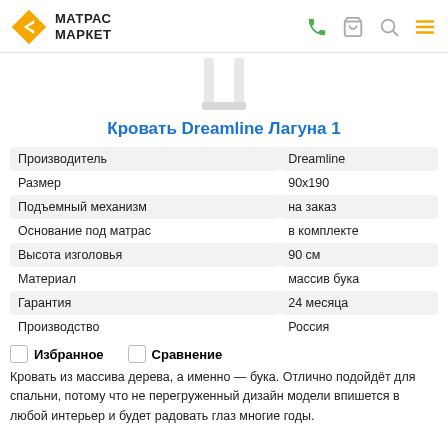МАТРАС МАРКЕТ
[Figure (photo): Partial product image showing legs of a bed on white background]
Кровать Dreamline Лагуна 1
| Производитель | Dreamline |
| Размер | 90х190 |
| Подъемный механизм | на заказ |
| Основание под матрас | в комплекте |
| Высота изголовья | 90 см |
| Материал | массив бука |
| Гарантия | 24 месяца |
| Производство | Россия |
Избранное
Сравнение
Кровать из массива дерева, а именно — бука. Отлично подойдёт для спальни, потому что не перегруженный дизайн модели впишется в любой интерьер и будет радовать глаз многие годы.